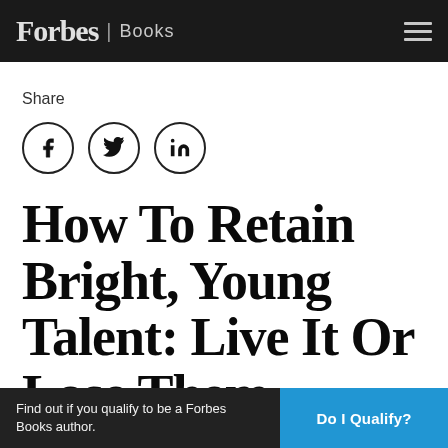Forbes | Books
Share
[Figure (illustration): Social sharing icons: Facebook (f), Twitter (bird), LinkedIn (in) — each inside a circle outline]
How To Retain Bright, Young Talent: Live It Or Lose Them
Find out if you qualify to be a Forbes Books author.  Do I Qualify?